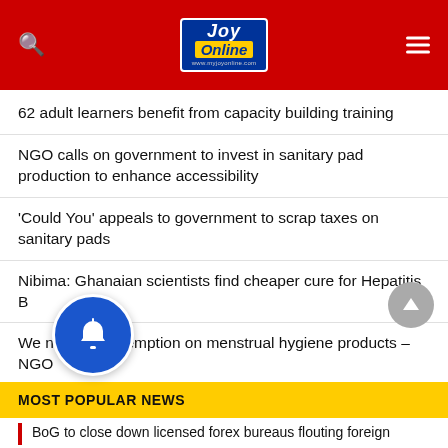Joy Online
62 adult learners benefit from capacity building training
NGO calls on government to invest in sanitary pad production to enhance accessibility
'Could You' appeals to government to scrap taxes on sanitary pads
Nibima: Ghanaian scientists find cheaper cure for Hepatitis B
We need tax exemption on menstrual hygiene products – NGO
Most Assemblies in Northern Region are unable to execute development plans – GDCA
Health Ministry receives Antigen test machines and kits for testing Covid-19
MOST POPULAR NEWS
BoG to close down licensed forex bureaus flouting foreign